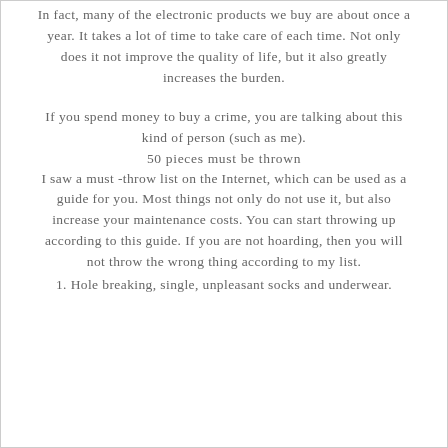In fact, many of the electronic products we buy are about once a year. It takes a lot of time to take care of each time. Not only does it not improve the quality of life, but it also greatly increases the burden.
If you spend money to buy a crime, you are talking about this kind of person (such as me).
50 pieces must be thrown
I saw a must -throw list on the Internet, which can be used as a guide for you. Most things not only do not use it, but also increase your maintenance costs. You can start throwing up according to this guide. If you are not hoarding, then you will not throw the wrong thing according to my list.
1. Hole breaking, single, unpleasant socks and underwear.